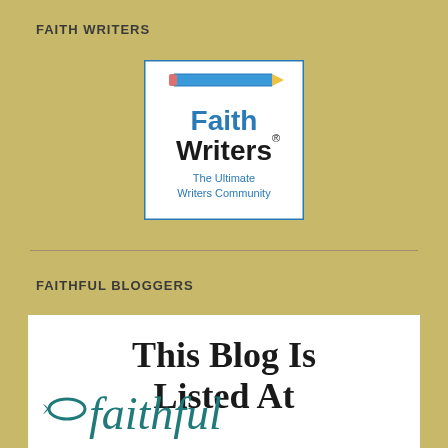FAITH WRITERS
[Figure (logo): Faith Writers logo — pencil icon above text 'Faith Writers' with registered trademark symbol, subtitle 'The Ultimate Writers Community', white background with blue border]
FAITHFUL BLOGGERS
[Figure (logo): Faithful Bloggers badge — white background with large serif text 'This Blog Is Listed At' and teal cursive 'faithful' with fish icon]